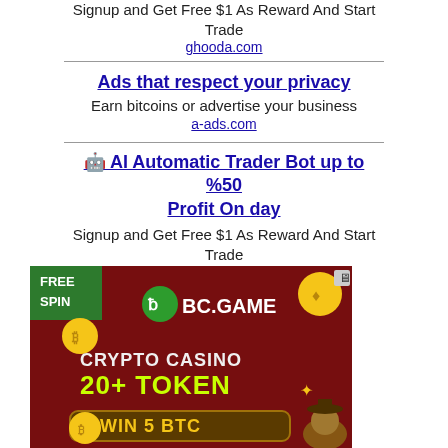Signup and Get Free $1 As Reward And Start Trade
ghooda.com
Ads that respect your privacy
Earn bitcoins or advertise your business
a-ads.com
🤖 AI Automatic Trader Bot up to %50 Profit On day
Signup and Get Free $1 As Reward And Start Trade
ghooda.com
[Figure (photo): BC.GAME crypto casino advertisement banner showing 'FREE SPIN', 'BC.GAME', 'CRYPTO CASINO 20+ TOKEN', 'WIN 5 BTC' on a dark red background with coins and a cartoon hippo character.]